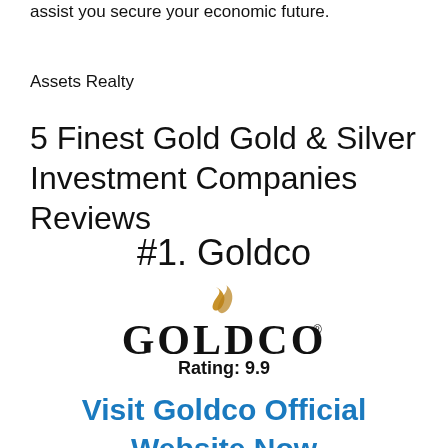assist you secure your economic future.
Assets Realty
5 Finest Gold Gold & Silver Investment Companies Reviews
#1. Goldco
[Figure (logo): Goldco logo with gold swoosh accent above stylized GOLDCO text with registered trademark symbol]
Rating: 9.9
Visit Goldco Official Website Now